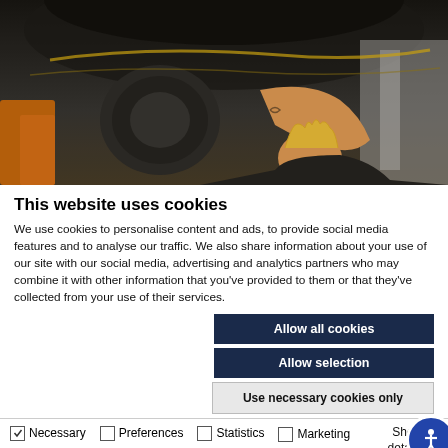[Figure (photo): Mechanic working underneath a vehicle, looking up at the undercarriage in a dark workshop environment.]
This website uses cookies
We use cookies to personalise content and ads, to provide social media features and to analyse our traffic. We also share information about your use of our site with our social media, advertising and analytics partners who may combine it with other information that you've provided to them or that they've collected from your use of their services.
Allow all cookies
Allow selection
Use necessary cookies only
Necessary  Preferences  Statistics  Marketing  Show details